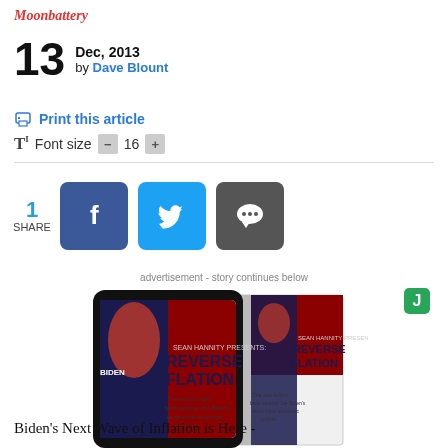Moonbattery
13 Dec, 2013 by Dave Blount
Print this article
Font size - 16 +
1 SHARE
[Figure (screenshot): Advertisement showing a book titled 'REVERSE FLATION' by Sean Hannity, with Biden silhouette on the cover. Tagline: The way to fight back against Joe Biden's destructive economic policies.]
advertisement - story continues below
Biden's Next Wave of Inflation is Here -